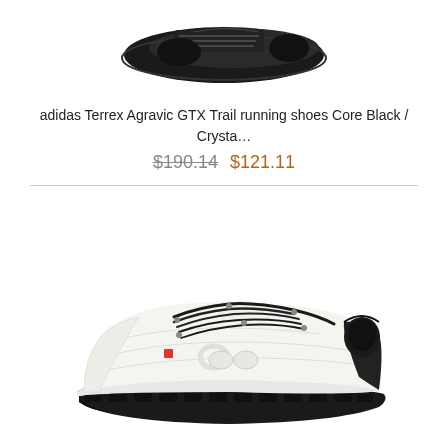[Figure (photo): Partial view of adidas Terrex Agravic GTX trail running shoe in Core Black colorway, shown from above/side angle against white background]
adidas Terrex Agravic GTX Trail running shoes Core Black / Crysta…
$190.14  $121.11
[Figure (photo): On Running white sneaker with black laces and black heel collar, red On logo accent, shown in side profile against white background]